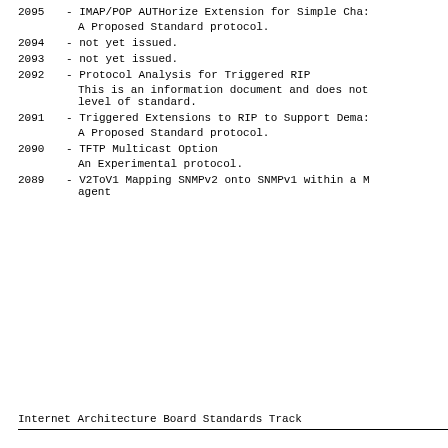2095 - IMAP/POP AUTHorize Extension for Simple Cha...
      A Proposed Standard protocol.
2094 - not yet issued.
2093 - not yet issued.
2092 - Protocol Analysis for Triggered RIP
      This is an information document and does not...
      level of standard.
2091 - Triggered Extensions to RIP to Support Dema...
      A Proposed Standard protocol.
2090 - TFTP Multicast Option
      An Experimental protocol.
2089 - V2ToV1 Mapping SNMPv2 onto SNMPv1 within a M...
      agent
Internet Architecture Board Standards Track